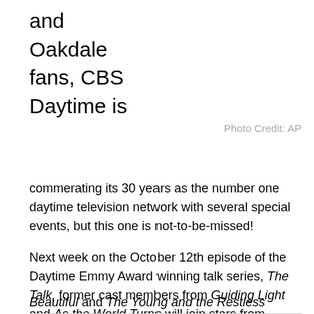and
Oakdale
fans, CBS
Daytime is
Photo Credit: AP
commerating its 30 years as the number one daytime television network with several special events, but this one is not-to-be-missed!
Next week on the October 12th episode of the Daytime Emmy Award winning talk series, The Talk, former cast members from Guiding Light and As the World Turns will join stars from current CBS series, The Bold and the Beautiful and The Young and the Restless